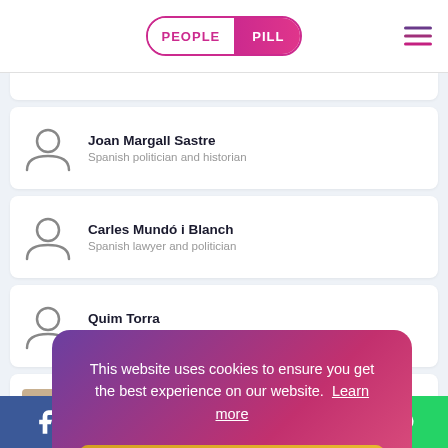PEOPLE PILL
Joan Margall Sastre — Spanish politician and historian
Carles Mundó i Blanch — Spanish lawyer and politician
Quim Torra — Catalan politician, lawyer and editor, president of Catalonia
Antoni Co... — Catalan philos...
Carlos Cue... — Spanish actor...
Josep Rull — Spanish poli...
This website uses cookies to ensure you get the best experience on our website. Learn more
Facebook | Twitter | Reddit | LinkedIn | WhatsApp